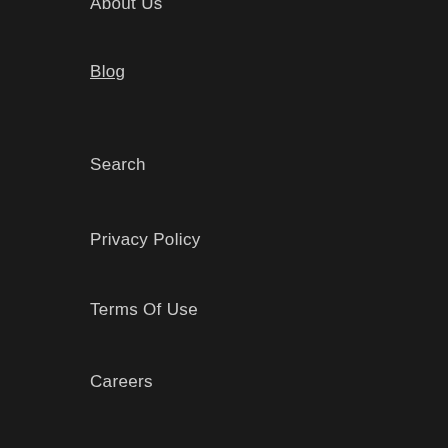About Us
Blog
Search
Privacy Policy
Terms Of Use
Careers
CUSTOMER CARE
Contact
g Info
Banish Reward Stars